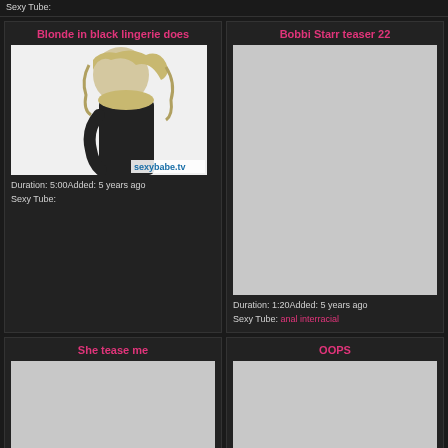Sexy Tube:
Blonde in black lingerie does
[Figure (photo): Black and white photo thumbnail of a blonde woman, with sexybabe.tv watermark]
Duration: 5:00Added: 5 years ago
Sexy Tube:
Bobbi Starr teaser 22
[Figure (photo): Gray placeholder thumbnail for Bobbi Starr teaser 22]
Duration: 1:20Added: 5 years ago
Sexy Tube: anal interracial
She tease me
[Figure (photo): Gray placeholder thumbnail for She tease me]
OOPS
[Figure (photo): Gray placeholder thumbnail for OOPS]